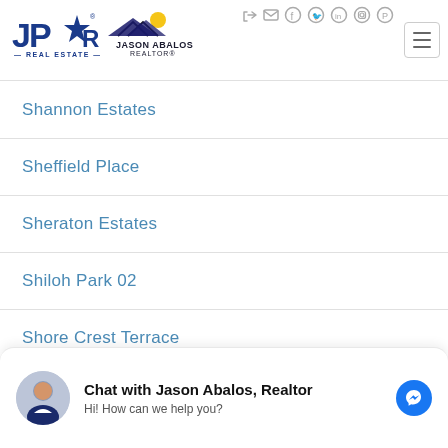[Figure (logo): JPAR Real Estate and Jason Abalos Realtor logos side by side in page header]
Shannon Estates
Sheffield Place
Sheraton Estates
Shiloh Park 02
Shore Crest Terrace
Chat with Jason Abalos, Realtor
Hi! How can we help you?